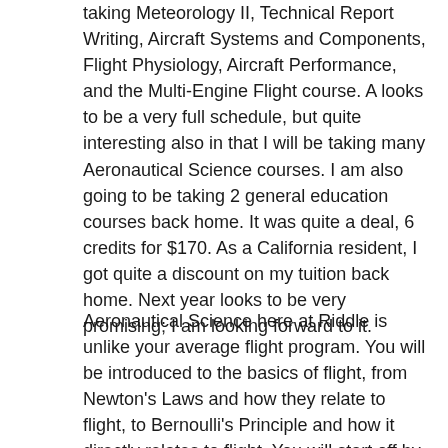taking Meteorology II, Technical Report Writing, Aircraft Systems and Components, Flight Physiology, Aircraft Performance, and the Multi-Engine Flight course. A looks to be a very full schedule, but quite interesting also in that I will be taking many Aeronautical Science courses. I am also going to be taking 2 general education courses back home. It was quite a deal, 6 credits for $170. As a California resident, I got quite a discount on my tuition back home. Next year looks to be very promising; I am looking forward to it.
Aeronautical Science here at Riddle is unlike your average flight program. You will be introduced to the basics of flight, from Newton's Laws and how they relate to flight, to Bernoulli's Principle and how it directly relates to flight. You will start off by taking AS 132, also known as Basic Aeronautics I. In this class, I built my knowledge of Aeronautics in general and was then taught the specifics of Private Pilot flight. Many aspects were